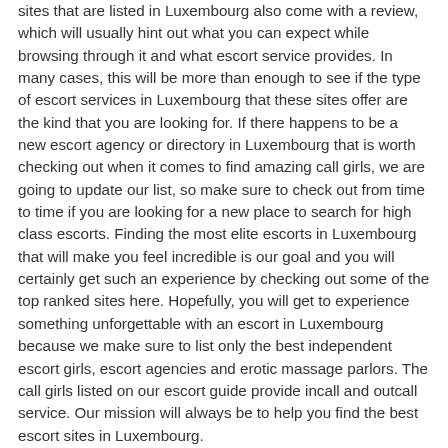sites that are listed in Luxembourg also come with a review, which will usually hint out what you can expect while browsing through it and what escort service provides. In many cases, this will be more than enough to see if the type of escort services in Luxembourg that these sites offer are the kind that you are looking for. If there happens to be a new escort agency or directory in Luxembourg that is worth checking out when it comes to find amazing call girls, we are going to update our list, so make sure to check out from time to time if you are looking for a new place to search for high class escorts. Finding the most elite escorts in Luxembourg that will make you feel incredible is our goal and you will certainly get such an experience by checking out some of the top ranked sites here. Hopefully, you will get to experience something unforgettable with an escort in Luxembourg because we make sure to list only the best independent escort girls, escort agencies and erotic massage parlors. The call girls listed on our escort guide provide incall and outcall service. Our mission will always be to help you find the best escort sites in Luxembourg.